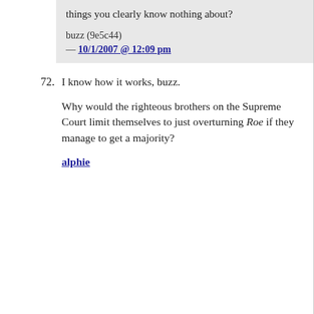things you clearly know nothing about?
buzz (9e5c44) — 10/1/2007 @ 12:09 pm
72. I know how it works, buzz.

Why would the righteous brothers on the Supreme Court limit themselves to just overturning Roe if they manage to get a majority?

alphie